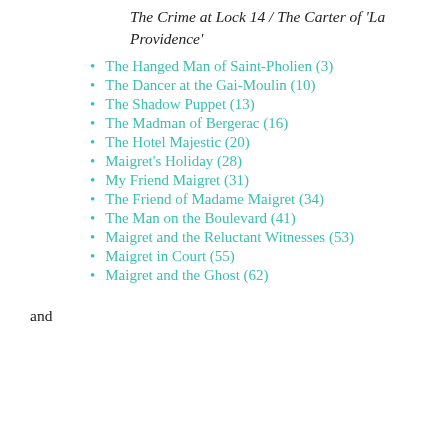The Crime at Lock 14 / The Carter of 'La Providence'
The Hanged Man of Saint-Pholien (3)
The Dancer at the Gai-Moulin (10)
The Shadow Puppet (13)
The Madman of Bergerac (16)
The Hotel Majestic (20)
Maigret's Holiday (28)
My Friend Maigret (31)
The Friend of Madame Maigret (34)
The Man on the Boulevard (41)
Maigret and the Reluctant Witnesses (53)
Maigret in Court (55)
Maigret and the Ghost (62)
and